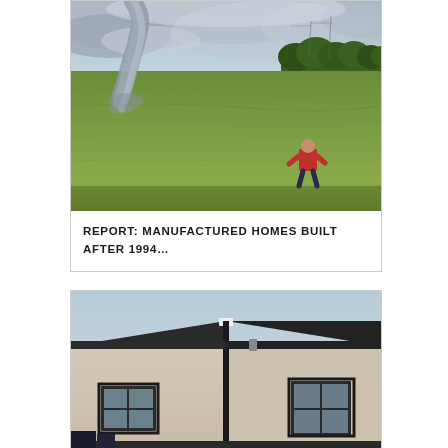[Figure (photo): Tornado visible in background across a green field, person in red shirt standing in field watching it, dramatic cloudy sky]
REPORT: MANUFACTURED HOMES BUILT AFTER 1994...
[Figure (photo): Close-up of a manufactured home exterior showing beige/tan siding with dark trim around windows and at roof line, two windows visible]